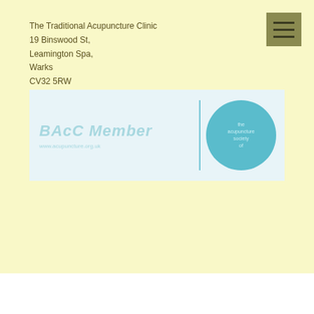The Traditional Acupuncture Clinic
19 Binswood St,
Leamington Spa,
Warks
CV32 5RW
[Figure (logo): BAcC Member logo with circular badge. Left side shows 'BAcC Member' text in teal with website URL www.acupuncture.org.uk. Right side shows a circular teal badge with regulatory/accreditation text.]